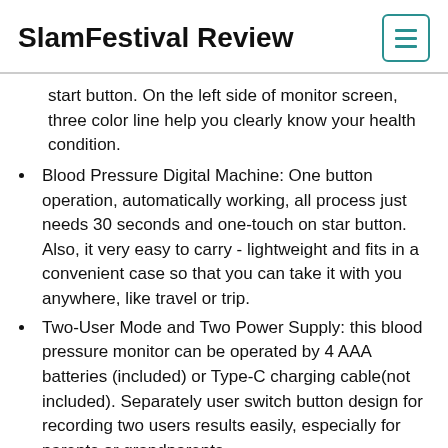SlamFestival Review
start button. On the left side of monitor screen, three color line help you clearly know your health condition.
Blood Pressure Digital Machine: One button operation, automatically working, all process just needs 30 seconds and one-touch on star button. Also, it very easy to carry - lightweight and fits in a convenient case so that you can take it with you anywhere, like travel or trip.
Two-User Mode and Two Power Supply: this blood pressure monitor can be operated by 4 AAA batteries (included) or Type-C charging cable(not included). Separately user switch button design for recording two users results easily, especially for parents or grandparents.
Why data result different: Blood pressure monitor varies occasionally affected by many factors such as stress,